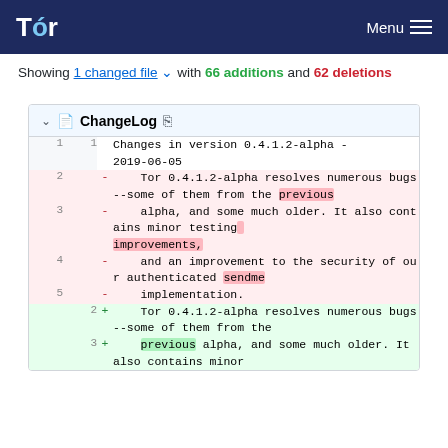Tor | Menu
Showing 1 changed file with 66 additions and 62 deletions
| old# | new# | marker | code |
| --- | --- | --- | --- |
| 1 | 1 |  | Changes in version 0.4.1.2-alpha - 2019-06-05 |
| 2 |  |   - | Tor 0.4.1.2-alpha resolves numerous bugs--some of them from the previous |
| 3 |  |   - | alpha, and some much older. It also contains minor testing improvements, |
| 4 |  |   - | and an improvement to the security of our authenticated sendme |
| 5 |  |   - | implementation. |
|  | 2 |   + | Tor 0.4.1.2-alpha resolves numerous bugs--some of them from the |
|  | 3 |   + | previous alpha, and some much older. It also contains minor |